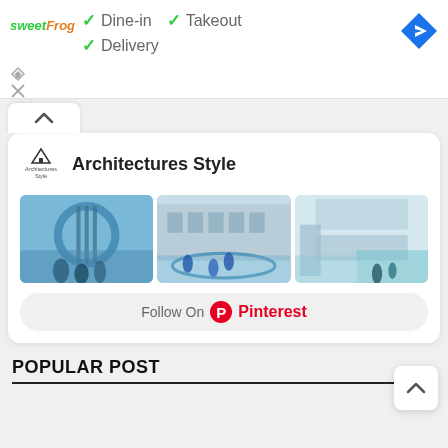[Figure (screenshot): SweetFrog logo in top left corner with green and blue italic text]
✓ Dine-in  ✓ Takeout
✓ Delivery
[Figure (logo): Blue diamond-shaped Google Maps navigation icon with white right-turn arrow]
[Figure (screenshot): Collapsed panel UI element with upward chevron arrow]
[Figure (illustration): Architectures Style logo - small triangular building icon with text]
Architectures Style
[Figure (photo): Three architecture photos showing modern buildings with blue tones and students]
Follow On Pinterest
POPULAR POST